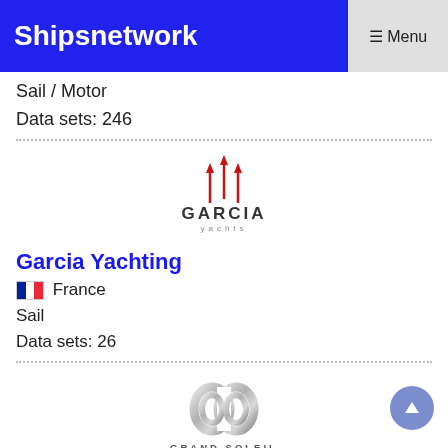Shipsnetwork  ☰ Menu
Sail / Motor
Data sets: 246
[Figure (logo): Garcia Yachts logo: three upward red arrows/lines above text reading GARCIA yachts]
Garcia Yachting
🇫🇷 France
Sail
Data sets: 26
[Figure (logo): Grand Soleil logo: silver metallic stylized GP monogram above text GRAND SOLEIL]
Grand Soleil
🇮🇹 Italy
Sail
Data sets: 39